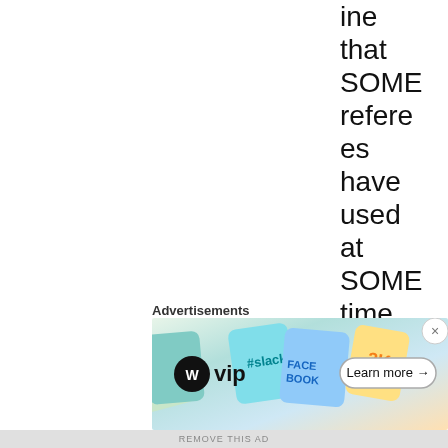ine that SOME referees have used at SOME time. It's not official, and there'
Advertisements
[Figure (other): Advertisement banner featuring WordPress VIP logo with colorful background showing social media brand logos (Slack, Facebook) and a 'Learn more →' button, with a close (×) button in the top right]